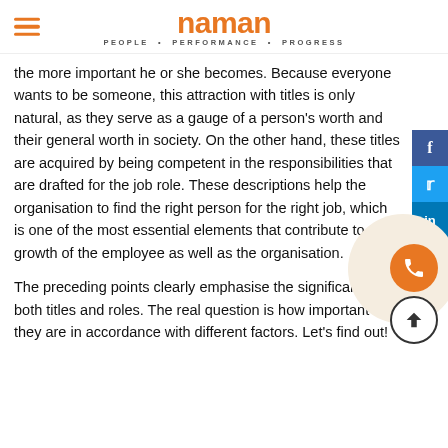naman PEOPLE • PERFORMANCE • PROGRESS
the more important he or she becomes. Because everyone wants to be someone, this attraction with titles is only natural, as they serve as a gauge of a person's worth and their general worth in society. On the other hand, these titles are acquired by being competent in the responsibilities that are drafted for the job role. These descriptions help the organisation to find the right person for the right job, which is one of the most essential elements that contribute to the growth of the employee as well as the organisation.
The preceding points clearly emphasise the significance of both titles and roles. The real question is how important they are in accordance with different factors. Let's find out!